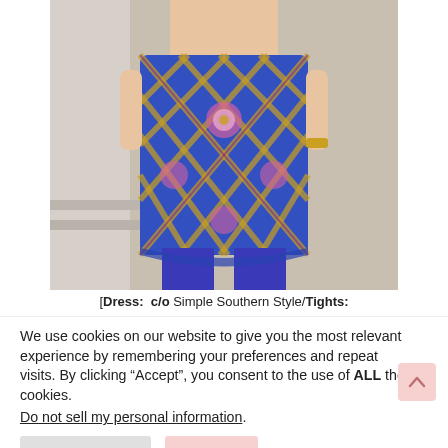[Figure (photo): Cropped photo of a person wearing a blue geometric/paisley patterned tunic dress with blue tights and a gold watch, standing against a light background.]
[Dress:  c/o Simple Southern Style/Tights:
We use cookies on our website to give you the most relevant experience by remembering your preferences and repeat visits. By clicking “Accept”, you consent to the use of ALL the cookies.
Do not sell my personal information.